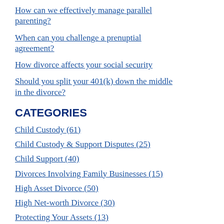How can we effectively manage parallel parenting?
When can you challenge a prenuptial agreement?
How divorce affects your social security
Should you split your 401(k) down the middle in the divorce?
CATEGORIES
Child Custody (61)
Child Custody & Support Disputes (25)
Child Support (40)
Divorces Involving Family Businesses (15)
High Asset Divorce (50)
High Net-worth Divorce (30)
Protecting Your Assets (13)